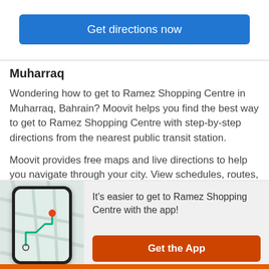[Figure (other): Blue button labeled 'Get directions now']
Muharraq
Wondering how to get to Ramez Shopping Centre in Muharraq, Bahrain? Moovit helps you find the best way to get to Ramez Shopping Centre with step-by-step directions from the nearest public transit station.
Moovit provides free maps and live directions to help you navigate through your city. View schedules, routes, timetables, and find out how long does it take to get to Ramez Shopping Centre in real time.
Looking for the nearest stop or station to Ramez
[Figure (screenshot): Moovit app banner with phone mockup showing map route, text 'It's easier to get to Ramez Shopping Centre with the app!' and orange 'Get the App' button]